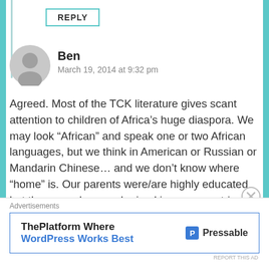REPLY
Ben
March 19, 2014 at 9:32 pm
Agreed. Most of the TCK literature gives scant attention to children of Africa’s huge diaspora. We may look “African” and speak one or two African languages, but we think in American or Russian or Mandarin Chinese… and we don’t know where “home” is. Our parents were/are highly educated but they were born and raised in poor countries with very different cultures and experiences.
Advertisements
ThePlatform Where WordPress Works Best
[Figure (logo): Pressable logo with blue P icon and text 'Pressable']